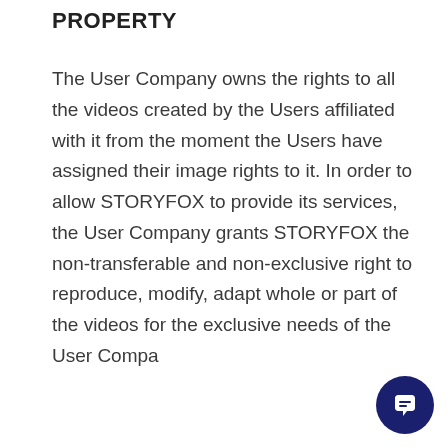PROPERTY
The User Company owns the rights to all the videos created by the Users affiliated with it from the moment the Users have assigned their image rights to it. In order to allow STORYFOX to provide its services, the User Company grants STORYFOX the non-transferable and non-exclusive right to reproduce, modify, adapt whole or part of the videos for the exclusive needs of the User Compa
[Figure (illustration): Dark navy blue circular chat/support button icon in the bottom right corner with a speech bubble symbol]